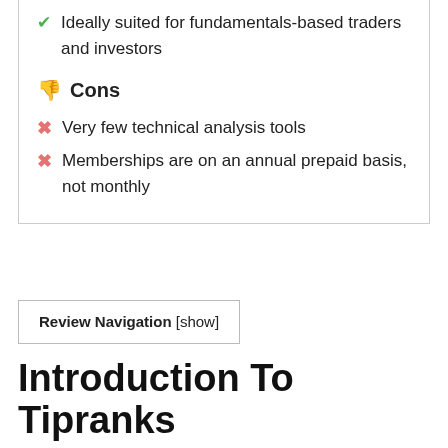Ideally suited for fundamentals-based traders and investors
Cons
Very few technical analysis tools
Memberships are on an annual prepaid basis, not monthly
Review Navigation [show]
Introduction To Tipranks
Tipranks is a research platform that collects, appraises and ranks the stock recommendations of financial analysts, bloggers and gurus based on accuracy and